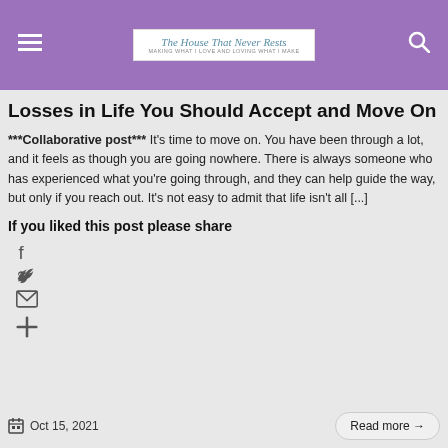The House That Never Rests — Making what I love and loving what I make
Losses in Life You Should Accept and Move On
***Collaborative post*** It's time to move on. You have been through a lot, and it feels as though you are going nowhere. There is always someone who has experienced what you're going through, and they can help guide the way, but only if you reach out. It's not easy to admit that life isn't all [...]
If you liked this post please share
[Figure (other): Social share icons: Facebook, Twitter, Email, More (plus sign)]
Oct 15, 2021
Read more →